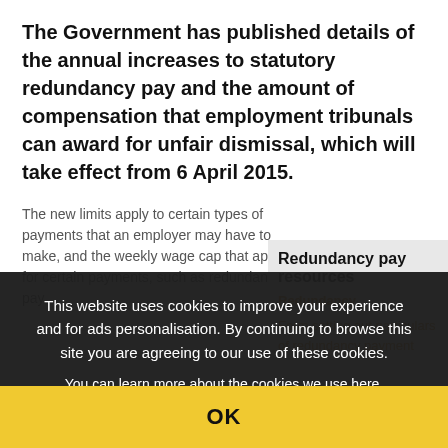The Government has published details of the annual increases to statutory redundancy pay and the amount of compensation that employment tribunals can award for unfair dismissal, which will take effect from 6 April 2015.
The new limits apply to certain types of payments that an employer may have to make, and the weekly wage cap that apply for certain payments, such as redundancy pay.
Redundancy pay resources
Redundancy
Form setting out particulars of redundancy payment
This website uses cookies to improve your experience and for ads personalisation. By continuing to browse this site you are agreeing to our use of these cookies. You can learn more about the cookies we use here.
OK